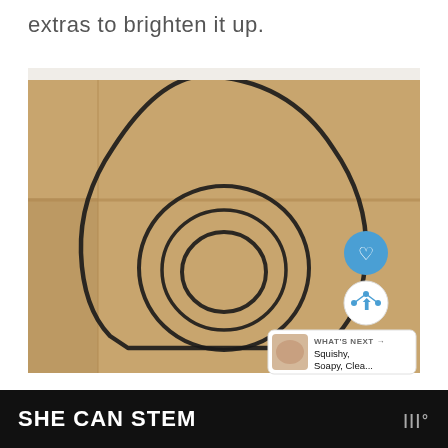extras to brighten it up.
[Figure (photo): A cardboard box with a hand-drawn birdhouse shape (an arch/teardrop outline) and concentric circles drawn on it with a black marker, suggesting a DIY craft project. A blue heart icon and a share icon are visible overlaid on the right side, along with a 'WHAT'S NEXT' thumbnail card showing 'Squishy, Soapy, Clea...']
SHE CAN STEM